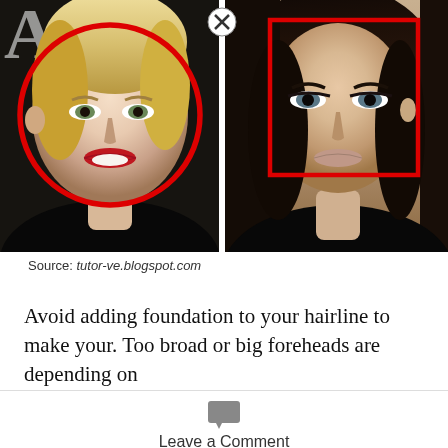[Figure (photo): Two side-by-side celebrity photos. Left: a blonde woman with a red circle drawn around her face and an X button in the top right corner between the photos. Right: a dark-haired woman with a red rectangle drawn around her face.]
Source: tutor-ve.blogspot.com
Avoid adding foundation to your hairline to make your. Too broad or big foreheads are depending on
Leave a Comment